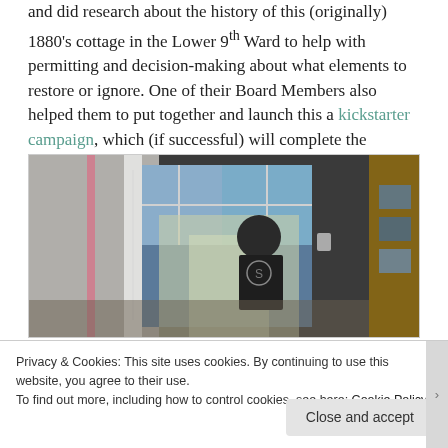and did research about the history of this (originally) 1880's cottage in the Lower 9th Ward to help with permitting and decision-making about what elements to restore or ignore. One of their Board Members also helped them to put together and launch this a kickstarter campaign, which (if successful) will complete the construction budget for the project.
[Figure (photo): Interior construction photo showing a person in a dark t-shirt with a logo standing near an open white French door, with natural light coming through. The room is under renovation with white walls visible.]
Privacy & Cookies: This site uses cookies. By continuing to use this website, you agree to their use.
To find out more, including how to control cookies, see here: Cookie Policy